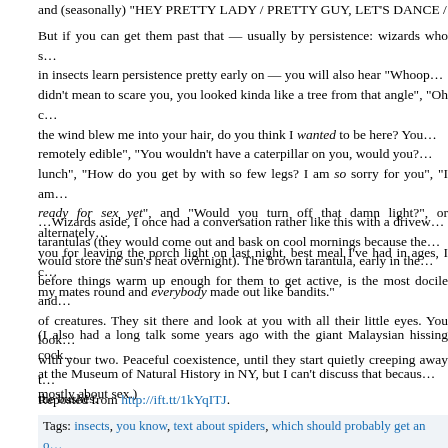and (seasonally) "HEY PRETTY LADY / PRETTY GUY, LET'S DANCE / FU…
But if you can get them past that — usually by persistence: wizards who specialize in insects learn persistence pretty early on — you will also hear "Whoops, didn't mean to scare you, you looked kinda like a tree from that angle", "Oh come on, the wind blew me into your hair, do you think I wanted to be here? You aren't remotely edible", "You wouldn't have a caterpillar on you, would you? I missed lunch", "How do you get by with so few legs? I am so sorry for you", "I am not ready for sex yet", and "Would you turn off that damn light?", or alternatively "thank you for leaving the porch light on last night, best meal I've had in ages, I called my mates round and everybody made out like bandits."
…Wizards aside, I once had a conversation rather like this with a driveway full of tarantulas (they would come out and bask on cool mornings because the concrete would store the sun's heat overnight). The brown tarantula, early in the morning, before things warm up enough for them to get active, is the most docile and peaceful of creatures. They sit there and look at you with all their little eyes. You look back with your two. Peaceful coexistence, until they start quietly creeping away toward the bushes.
(I also had a long talk some years ago with the giant Malaysian hissing cockroach at the Museum of Natural History in NY, but I can't discuss that because it was mostly about sex.)
Reposted from http://ift.tt/1kYqITJ.
Tags: insects, you know, text about spiders, which should probably get an official tag of, that anonsally will never see, and that aren't insects, and that I believe will not trigger her, since it's just verbal description, and not very graphically described,